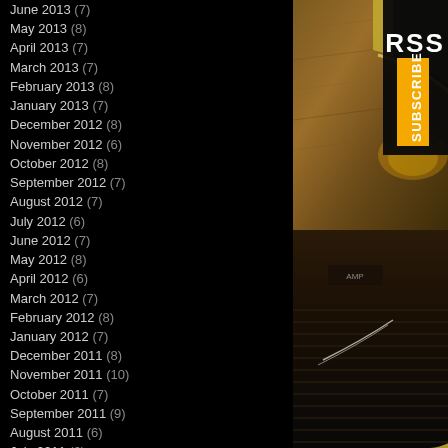June 2013 (7)
May 2013 (8)
April 2013 (7)
March 2013 (7)
February 2013 (8)
January 2013 (7)
December 2012 (8)
November 2012 (6)
October 2012 (8)
September 2012 (7)
August 2012 (7)
July 2012 (6)
June 2012 (7)
May 2012 (8)
April 2012 (6)
March 2012 (7)
February 2012 (8)
January 2012 (7)
December 2011 (8)
November 2011 (10)
October 2011 (7)
September 2011 (9)
August 2011 (6)
July 2011 (6)
[Figure (photo): Guitar and amplifier photo with RSS Subscribe badge overlay in top right corner]